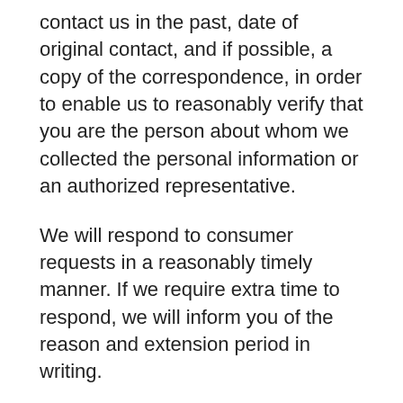contact us in the past, date of original contact, and if possible, a copy of the correspondence, in order to enable us to reasonably verify that you are the person about whom we collected the personal information or an authorized representative.
We will respond to consumer requests in a reasonably timely manner. If we require extra time to respond, we will inform you of the reason and extension period in writing.
In order to protect the security of your personal information, we will not honor a request if we cannot verify your identity or authority to make the request and confirm the personal information relates to you. The method used to verify your identity will vary depending on the nature of the request. Generally speaking, verification will be performed by matching the identifying information